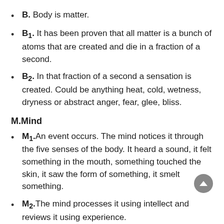B. Body is matter.
B1. It has been proven that all matter is a bunch of atoms that are created and die in a fraction of a second.
B2. In that fraction of a second a sensation is created. Could be anything heat, cold, wetness, dryness or abstract anger, fear, glee, bliss.
M.Mind
M1.An event occurs. The mind notices it through the five senses of the body. It heard a sound, it felt something in the mouth, something touched the skin, it saw the form of something, it smelt something.
M2.The mind processes it using intellect and reviews it using experience.
Oh, the sound is someone calling me “idiot” – bad. Oh,